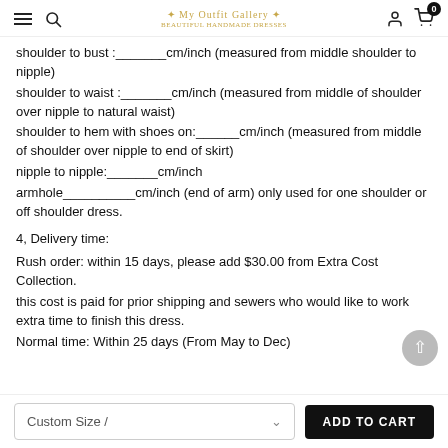Navigation header with hamburger menu, search, logo, user icon, cart (0)
shoulder to bust :_______cm/inch (measured from middle shoulder to nipple)
shoulder to waist :_______cm/inch (measured from middle of shoulder over nipple to natural waist)
shoulder to hem with shoes on:______cm/inch (measured from middle of shoulder over nipple to end of skirt)
nipple to nipple:_______cm/inch
armhole__________cm/inch (end of arm) only used for one shoulder or off shoulder dress.
4, Delivery time:
Rush order: within 15 days, please add $30.00 from Extra Cost Collection.
this cost is paid for prior shipping and sewers who would like to work extra time to finish this dress.
Normal time: Within 25 days (From May to Dec)